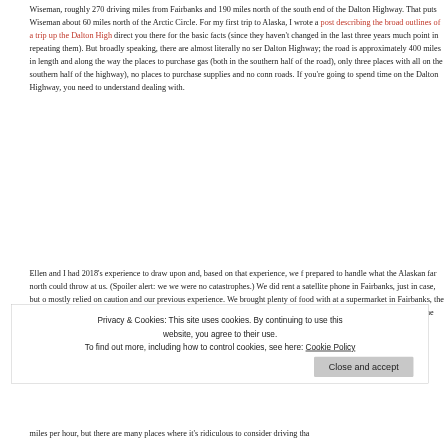Wiseman, roughly 270 driving miles from Fairbanks and 190 miles north of the south end of the Dalton Highway. That puts Wiseman about 60 miles north of the Arctic Circle. For my first trip to Alaska, I wrote a post describing the broad outlines of a trip up the Dalton Highway and direct you there for the basic facts (since they haven't changed in the last three years, there's not much point in repeating them). But broadly speaking, there are almost literally no services on the Dalton Highway; the road is approximately 400 miles in length and along the way there are two places to purchase gas (both in the southern half of the road), only three places with cell service (all on the southern half of the highway), no places to purchase supplies and no connecting roads. If you're going to spend time on the Dalton Highway, you need to understand what you're dealing with.
Ellen and I had 2018's experience to draw upon and, based on that experience, we felt well prepared to handle what the Alaskan far north could throw at us. (Spoiler alert: we were fine; there were no catastrophes.) We did rent a satellite phone in Fairbanks, just in case, but otherwise mostly relied on caution and our previous experience. We brought plenty of food with us (purchased at a supermarket in Fairbanks, the night before we made the drive). We had, long prior to our trip, reserved one of the two cabins at Boreal Lodging, in Wiseman, the same place we had stayed in 2018. And we knew where the gas station at Coldfoot Camp was located; that gas was very expensive (it was approximately $5.50 per gallon when we were in the area); and tha
miles per hour, but there are many places where it's ridiculous to consider driving that
Privacy & Cookies: This site uses cookies. By continuing to use this website, you agree to their use.
To find out more, including how to control cookies, see here: Cookie Policy